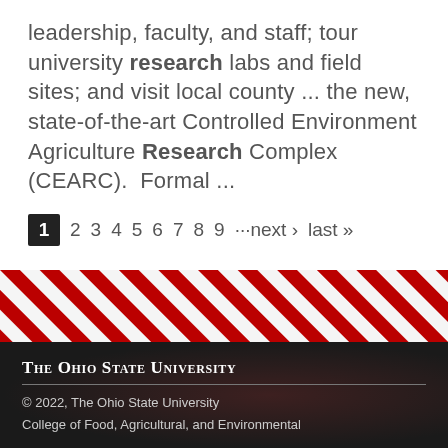leadership, faculty, and staff; tour university research labs and field sites; and visit local county ... the new, state-of-the-art Controlled Environment Agriculture Research Complex (CEARC).  Formal ...
1 2 3 4 5 6 7 8 9 ···next › last »
[Figure (illustration): Diagonal red and white candy-cane stripe decorative bar, Ohio State University branding element]
The Ohio State University
© 2022, The Ohio State University
College of Food, Agricultural, and Environmental